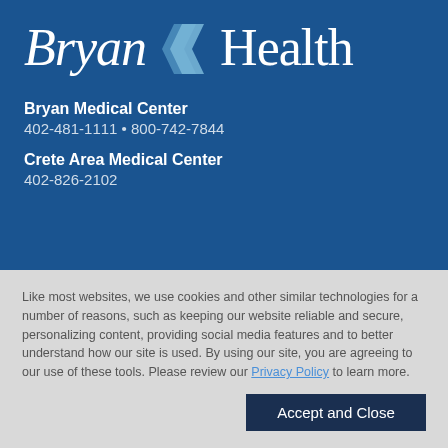[Figure (logo): Bryan Health logo with stylized chevron arrows between 'Bryan' and 'Health' in white serif text on dark blue background]
Bryan Medical Center
402-481-1111 • 800-742-7844
Crete Area Medical Center
402-826-2102
Like most websites, we use cookies and other similar technologies for a number of reasons, such as keeping our website reliable and secure, personalizing content, providing social media features and to better understand how our site is used. By using our site, you are agreeing to our use of these tools. Please review our Privacy Policy to learn more.
Accept and Close